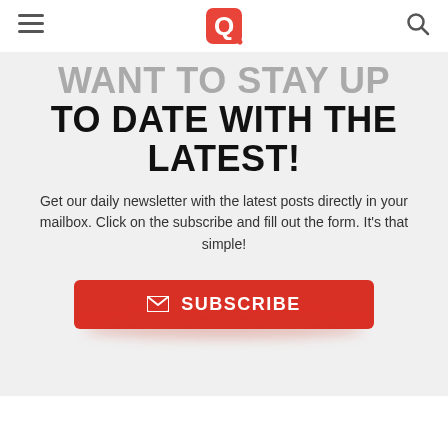WANT TO STAY UP TO DATE WITH THE LATEST!
Get our daily newsletter with the latest posts directly in your mailbox. Click on the subscribe and fill out the form. It's that simple!
[Figure (other): Red SUBSCRIBE button with envelope icon]